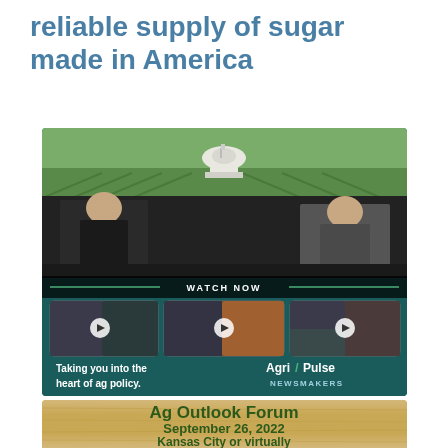reliable supply of sugar made in America
[Figure (screenshot): Agri-Pulse Newsmakers advertisement showing two men in a studio with the US Capitol in the background, a 'WATCH NOW' banner with three video thumbnails, and the tagline 'Taking you into the heart of ag policy.']
[Figure (screenshot): Ag Outlook Forum advertisement banner showing 'Ag Outlook Forum September 26, 2022 Kansas City or virtually' on a wood-textured background]